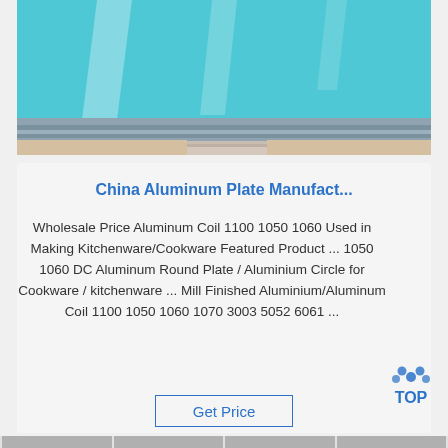[Figure (photo): Photo of blue/teal aluminum plates or coils stacked, showing reflective surface with highlights, silver metal edges visible at bottom.]
China Aluminum Plate Manufact...
Wholesale Price Aluminum Coil 1100 1050 1060 Used in Making Kitchenware/Cookware Featured Product ... 1050 1060 DC Aluminum Round Plate / Aluminium Circle for Cookware / kitchenware ... Mill Finished Aluminium/Aluminum Coil 1100 1050 1060 1070 3003 5052 6061 ...
[Figure (logo): TOP badge logo — dotted arc above the word TOP in blue text.]